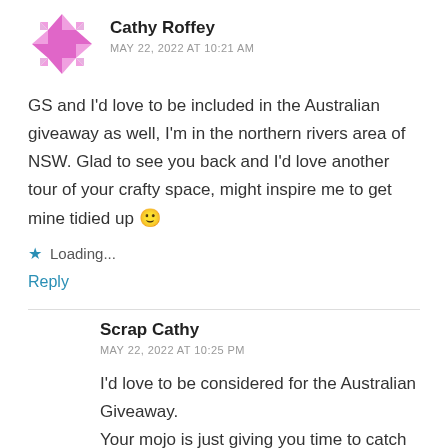[Figure (illustration): Pink geometric/pixel art avatar for Cathy Roffey]
Cathy Roffey
MAY 22, 2022 AT 10:21 AM
GS and I'd love to be included in the Australian giveaway as well, I'm in the northern rivers area of NSW. Glad to see you back and I'd love another tour of your crafty space, might inspire me to get mine tidied up 🙂
Loading...
Reply
Scrap Cathy
MAY 22, 2022 AT 10:25 PM
I'd love to be considered for the Australian Giveaway. Your mojo is just giving you time to catch up with yourself. It